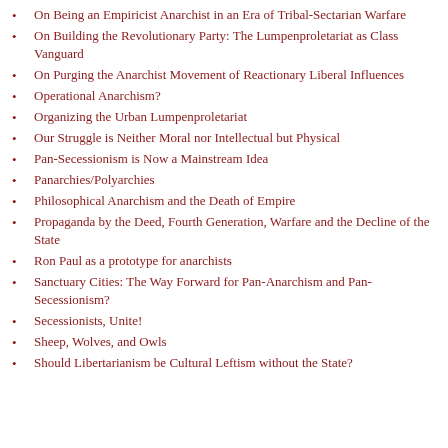On Being an Empiricist Anarchist in an Era of Tribal-Sectarian Warfare
On Building the Revolutionary Party: The Lumpenproletariat as Class Vanguard
On Purging the Anarchist Movement of Reactionary Liberal Influences
Operational Anarchism?
Organizing the Urban Lumpenproletariat
Our Struggle is Neither Moral nor Intellectual but Physical
Pan-Secessionism is Now a Mainstream Idea
Panarchies/Polyarchies
Philosophical Anarchism and the Death of Empire
Propaganda by the Deed, Fourth Generation, Warfare and the Decline of the State
Ron Paul as a prototype for anarchists
Sanctuary Cities: The Way Forward for Pan-Anarchism and Pan-Secessionism?
Secessionists, Unite!
Sheep, Wolves, and Owls
Should Libertarianism be Cultural Leftism without the State?